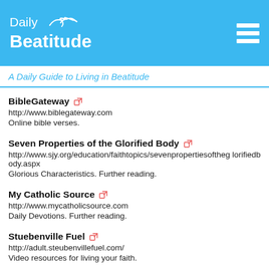Daily Beatitude
A Daily Guide to Living in Beatitude
BibleGateway
http://www.biblegateway.com
Online bible verses.
Seven Properties of the Glorified Body
http://www.sjy.org/education/faithtopics/sevenpropertiesoftheglorifiedbody.aspx
Glorious Characteristics. Further reading.
My Catholic Source
http://www.mycatholicsource.com
Daily Devotions. Further reading.
Stuebenville Fuel
http://adult.steubenvillefuel.com/
Video resources for living your faith.
Aquinas Online